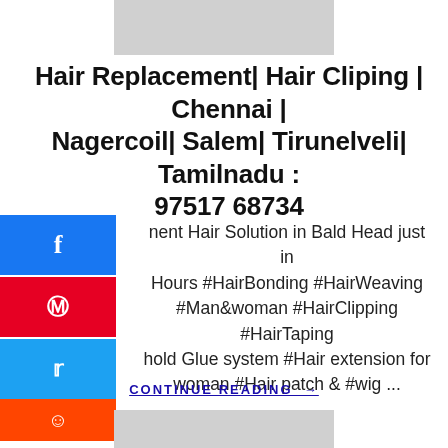[Figure (other): Top image strip placeholder (gray rectangle)]
Hair Replacement| Hair Cliping | Chennai | Nagercoil| Salem| Tirunelveli| Tamilnadu : 97517 68734
[Figure (other): Social share buttons: Facebook (blue), Pinterest (red), Twitter (blue), Reddit (orange)]
nent Hair Solution in Bald Head just in Hours #HairBonding #HairWeaving #Man&woman #HairClipping #HairTaping hold Glue system #Hair extension for woman #Hair patch & #wig ...
CONTINUE READING →
[Figure (other): Bottom image strip placeholder (gray rectangle)]